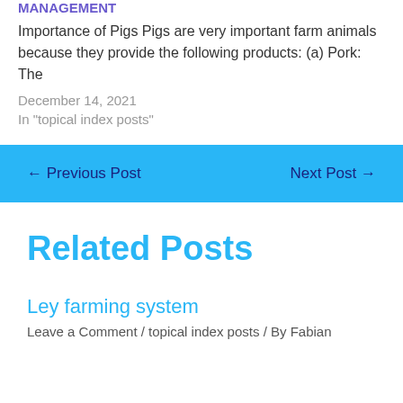MANAGEMENT
Importance of Pigs Pigs are very important farm animals because they provide the following products: (a) Pork: The
December 14, 2021
In "topical index posts"
← Previous Post
Next Post →
Related Posts
Ley farming system
Leave a Comment / topical index posts / By Fabian